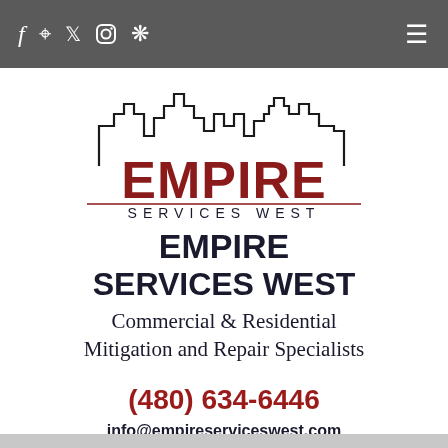f [map pin] [twitter] [instagram] [yelp] [hamburger menu]
[Figure (logo): Empire Services West logo: city skyline outline in black above large dark red EMPIRE text and smaller spaced SERVICES WEST text with a horizontal rule, all on white background]
EMPIRE SERVICES WEST
Commercial & Residential Mitigation and Repair Specialists
(480) 634-6446
info@empireserviceswest.com